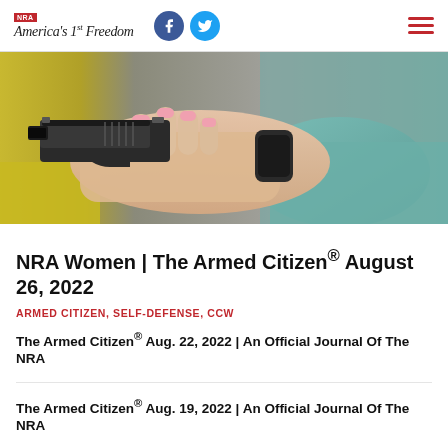NRA America's 1st Freedom
[Figure (photo): Close-up photo of a woman's hand holding a black semi-automatic pistol, wearing a black smartwatch, teal/green long sleeve shirt, shooting range context with yellow barrier visible.]
NRA Women | The Armed Citizen® August 26, 2022
ARMED CITIZEN, SELF-DEFENSE, CCW
The Armed Citizen® Aug. 22, 2022 | An Official Journal Of The NRA
The Armed Citizen® Aug. 19, 2022 | An Official Journal Of The NRA
The Armed Citizen® Aug. 15, 2022 | An Official Journal Of The NRA